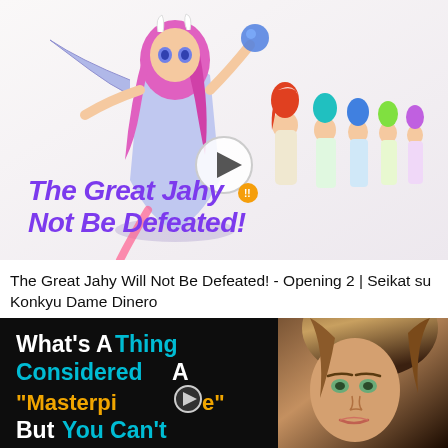[Figure (screenshot): Anime thumbnail showing colorful anime girl characters from 'The Great Jahy Will Not Be Defeated!' with a play button overlay. Title text visible: 'The Great Jahy Will Not Be Defeated!']
The Great Jahy Will Not Be Defeated! - Opening 2 | Seikat su Konkyu Dame Dinero
[Figure (screenshot): YouTube video thumbnail with dark background showing text 'What's A Thing Considered A "Masterpiece" But You Can't' with a woman's face photo on the right side]